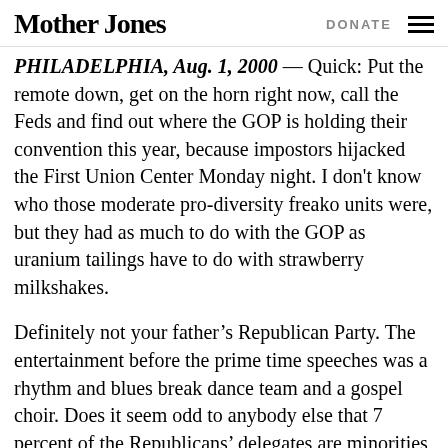Mother Jones | DONATE
PHILADELPHIA, Aug. 1, 2000 — Quick: Put the remote down, get on the horn right now, call the Feds and find out where the GOP is holding their convention this year, because impostors hijacked the First Union Center Monday night. I don't know who those moderate pro-diversity freako units were, but they had as much to do with the GOP as uranium tailings have to do with strawberry milkshakes.
Definitely not your father's Republican Party. The entertainment before the prime time speeches was a rhythm and blues break dance team and a gospel choir. Does it seem odd to anybody else that 7 percent of the Republicans' delegates are minorities